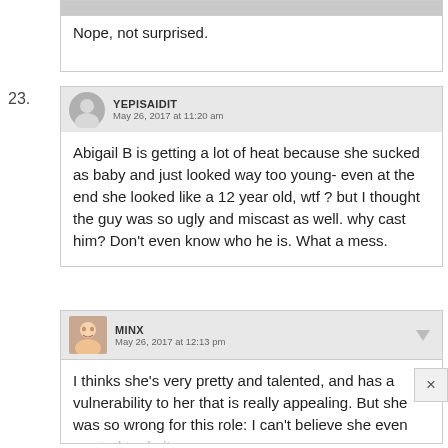Nope, not surprised.
23.
YEPISAIDIT
May 26, 2017 at 11:20 am
Abigail B is getting a lot of heat because she sucked as baby and just looked way too young- even at the end she looked like a 12 year old, wtf ? but I thought the guy was so ugly and miscast as well. why cast him? Don't even know who he is. What a mess.
MINX
May 26, 2017 at 12:13 pm
I thinks she's very pretty and talented, and has a vulnerability to her that is really appealing. But she was so wrong for this role: I can't believe she even wanted to do it.